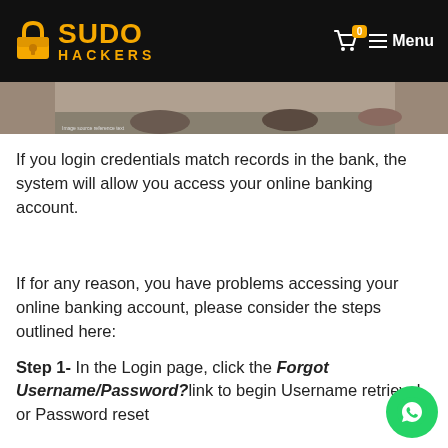SUDO HACKERS — Menu
[Figure (photo): Hands using smartphones over a table, partial view]
If you login credentials match records in the bank, the system will allow you access your online banking account.
If for any reason, you have problems accessing your online banking account, please consider the steps outlined here:
Step 1- In the Login page, click the Forgot Username/Password? link to begin Username retrieval or Password reset